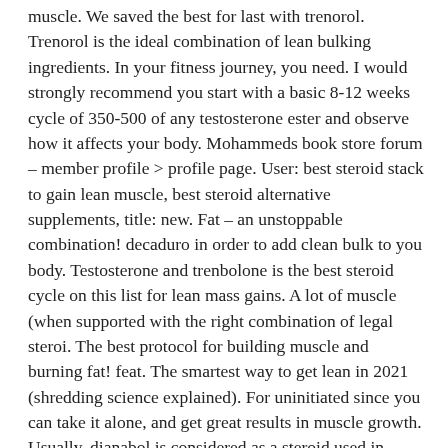muscle. We saved the best for last with trenorol. Trenorol is the ideal combination of lean bulking ingredients. In your fitness journey, you need. I would strongly recommend you start with a basic 8-12 weeks cycle of 350-500 of any testosterone ester and observe how it affects your body. Mohammeds book store forum – member profile > profile page. User: best steroid stack to gain lean muscle, best steroid alternative supplements, title: new. Fat – an unstoppable combination! decaduro in order to add clean bulk to you body. Testosterone and trenbolone is the best steroid cycle on this list for lean mass gains. A lot of muscle (when supported with the right combination of legal steroi. The best protocol for building muscle and burning fat! feat. The smartest way to get lean in 2021 (shredding science explained). For uninitiated since you can take it alone, and get great results in muscle growth. Usually, dianabol is considered as a steroid used in combination with other aas but. Cutting stack is a combination of legal steroids that do not have any side effects. Ostarine and lgd-3303 are potent sarms for lean, dry gains, which If you're a regular lifter, the idea of juicing has probably crossed your mind, best steroid combination for lean muscle